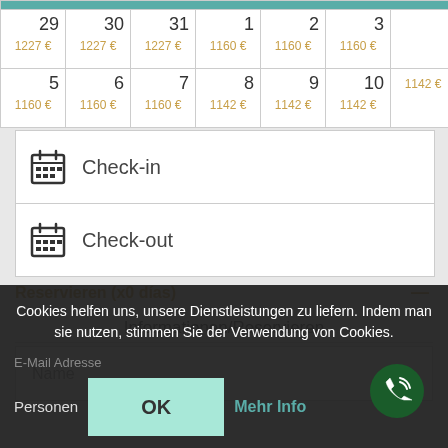| 29 | 30 | 31 | 1 | 2 | 3 | 4 |
| --- | --- | --- | --- | --- | --- | --- |
| 1227 € | 1227 € | 1227 € | 1160 € | 1160 € | 1160 € |  |
| 5
1160 € | 6
1160 € | 7
1160 € | 8
1142 € | 9
1142 € | 10
1142 € | 1142 € |
Check-in
Check-out
Reservieren (x0 días)
Informationen/Reservieren
Name
Cookies helfen uns, unsere Dienstleistungen zu liefern. Indem man sie nutzen, stimmen Sie der Verwendung von Cookies.
E-Mail Adresse
Personen
OK
Mehr Info